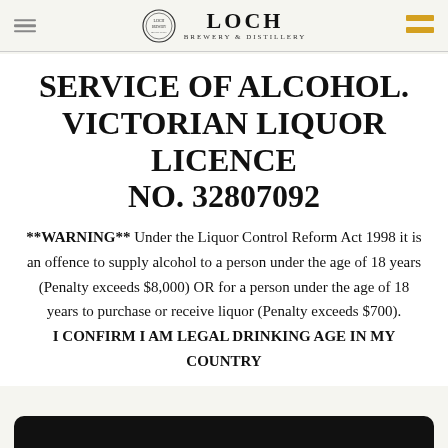LOCH BREWERY & DISTILLERY
SERVICE OF ALCOHOL. VICTORIAN LIQUOR LICENCE NO. 32807092
**WARNING** Under the Liquor Control Reform Act 1998 it is an offence to supply alcohol to a person under the age of 18 years (Penalty exceeds $8,000) OR for a person under the age of 18 years to purchase or receive liquor (Penalty exceeds $700). I CONFIRM I AM LEGAL DRINKING AGE IN MY COUNTRY